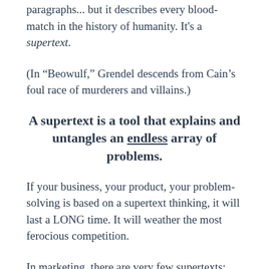paragraphs... but it describes every blood-match in the history of humanity. It's a supertext.
(In “Beowulf,” Grendel descends from Cain’s foul race of murderers and villains.)
A supertext is a tool that explains and untangles an endless array of problems.
If your business, your product, your problem-solving is based on a supertext thinking, it will last a LONG time. It will weather the most ferocious competition.
In marketing, there are very few supertexts: